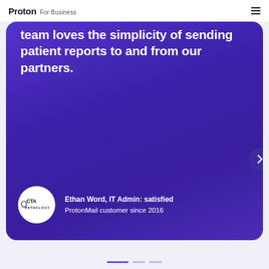Proton For Business
team loves the simplicity of sending patient reports to and from our partners.
Ethan Word, IT Admin: satisfied ProtonMail customer since 2016
[Figure (logo): CTA Pathology logo — circular white badge with 'CTA PATHOLOGY' text]
Pagination indicator: 3 dots, first active